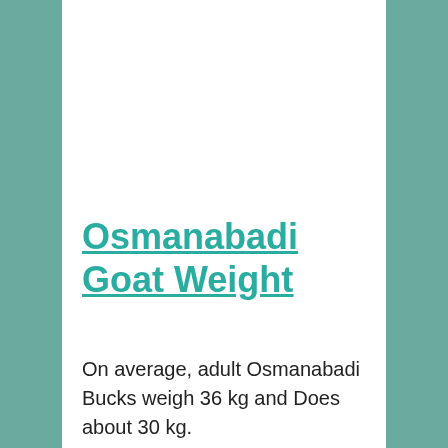Osmanabadi Goat Weight
On average, adult Osmanabadi Bucks weigh 36 kg and Does about 30 kg.